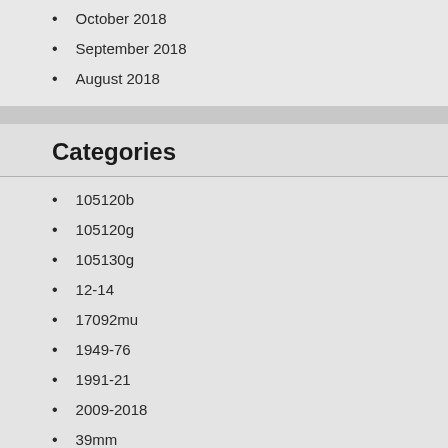October 2018
September 2018
August 2018
Categories
105120b
105120g
105130g
12-14
17092mu
1949-76
1991-21
2009-2018
39mm
41mm
49-03004nm
68mm
800cc